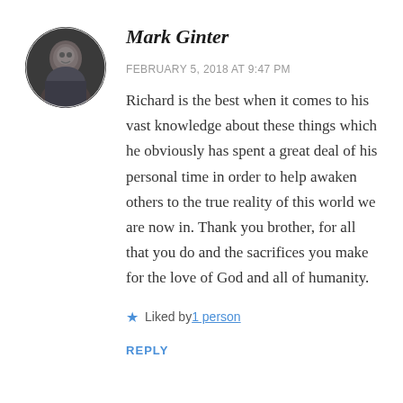[Figure (photo): Circular avatar photo of a man, dark background]
Mark Ginter
FEBRUARY 5, 2018 AT 9:47 PM
Richard is the best when it comes to his vast knowledge about these things which he obviously has spent a great deal of his personal time in order to help awaken others to the true reality of this world we are now in. Thank you brother, for all that you do and the sacrifices you make for the love of God and all of humanity.
★ Liked by 1 person
REPLY